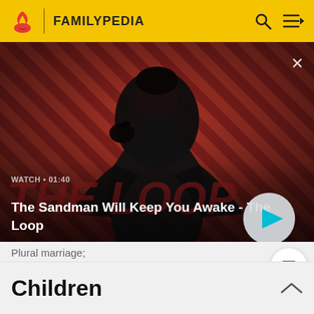FAMILYPEDIA
[Figure (screenshot): Video banner showing a dark-cloaked figure with a bird on shoulder against a red diagonal-striped background. Overlay text: WATCH • 01:40. Title: The Sandman Will Keep You Awake - The Loop. Play button circle on the right.]
Plural marriage;
Children